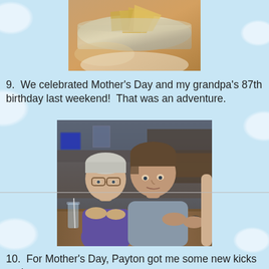[Figure (photo): Close-up photo of chips/nachos in a foil pan on a table, partial view cropped at top of page]
9.  We celebrated Mother's Day and my grandpa's 87th birthday last weekend!  That was an adventure.
[Figure (photo): Photo of two people (an older man with glasses in a purple shirt and a younger man in a gray t-shirt with a watch) sitting at a restaurant table with water glasses]
10.  For Mother's Day, Payton got me some new kicks and